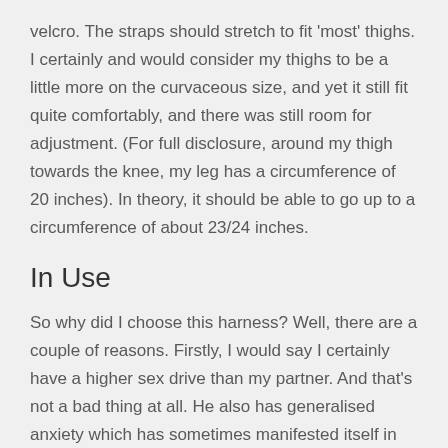velcro. The straps should stretch to fit 'most' thighs. I certainly and would consider my thighs to be a little more on the curvaceous size, and yet it still fit quite comfortably, and there was still room for adjustment. (For full disclosure, around my thigh towards the knee, my leg has a circumference of 20 inches). In theory, it should be able to go up to a circumference of about 23/24 inches.
In Use
So why did I choose this harness? Well, there are a couple of reasons. Firstly, I would say I certainly have a higher sex drive than my partner. And that's not a bad thing at all. He also has generalised anxiety which has sometimes manifested itself in the bedroom, filling him